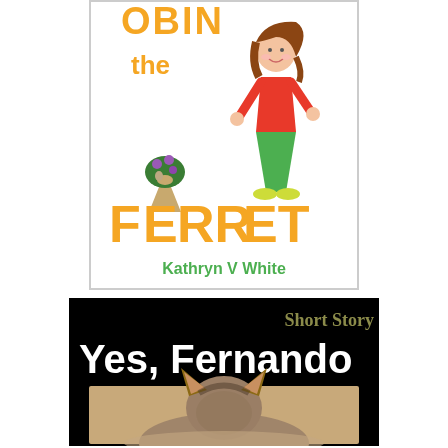[Figure (illustration): Children's book cover showing a girl walking with 'the FERRET' text in orange/green letters, a ferret visible in the letter E, and author name 'Kathryn V White' in green at the bottom. White background with colored pencil drawing style.]
[Figure (illustration): Short story book cover with black background. Text 'Short Story' in olive/gold and 'Yes, Fernando' in large white bold text. Below is a photo of a small dog (likely a Yorkshire Terrier) seen from behind/side, with pointed ears visible.]